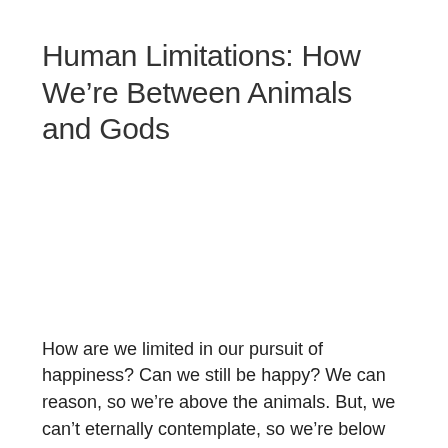Human Limitations: How We're Between Animals and Gods
How are we limited in our pursuit of happiness? Can we still be happy? We can reason, so we're above the animals. But, we can't eternally contemplate, so we're below the gods. In his Nicomachean Ethics, Aristotle addresses human limitations and discusses how we still can strive for happiness, even within constraints.